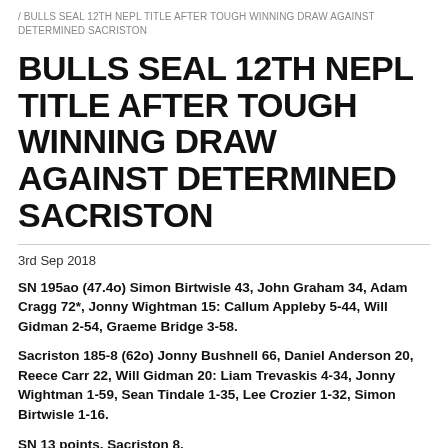/ BULLS SEAL 12TH NEPL TITLE AFTER TOUGH WINNING DRAW AGAINST DETERMINED SACRISTON
BULLS SEAL 12TH NEPL TITLE AFTER TOUGH WINNING DRAW AGAINST DETERMINED SACRISTON
3rd Sep 2018
SN 195ao (47.4o) Simon Birtwisle 43, John Graham 34, Adam Cragg 72*, Jonny Wightman 15: Callum Appleby 5-44, Will Gidman 2-54, Graeme Bridge 3-58.
Sacriston 185-8 (62o) Jonny Bushnell 66, Daniel Anderson 20, Reece Carr 22, Will Gidman 20: Liam Trevaskis 4-34, Jonny Wightman 1-59, Sean Tindale 1-35, Lee Crozier 1-32, Simon Birtwisle 1-16.
SN 13 points, Sacriston 8.